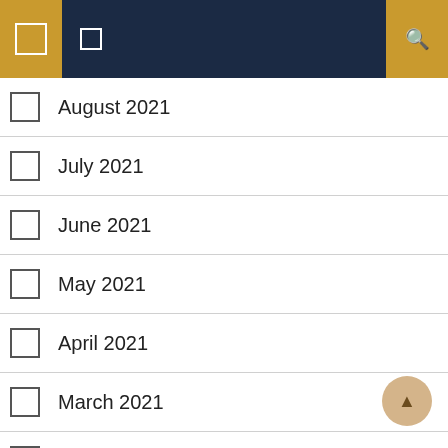Navigation header with icons
August 2021
July 2021
June 2021
May 2021
April 2021
March 2021
August 2020
June 2020
March 2020
February 2020